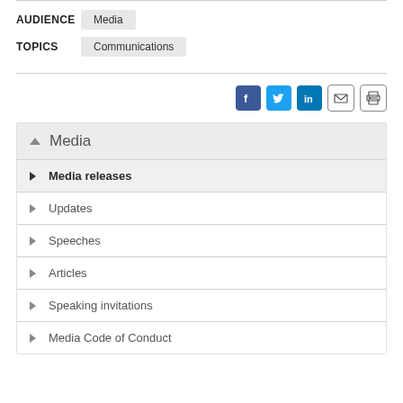AUDIENCE: Media
TOPICS: Communications
[Figure (infographic): Social sharing icons: Facebook, Twitter, LinkedIn, Email, Print]
Media (section header, expanded)
Media releases (active/current)
Updates
Speeches
Articles
Speaking invitations
Media Code of Conduct